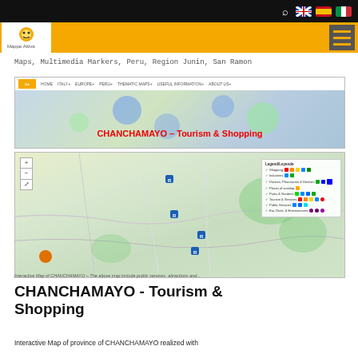Mappe Attiva website header with navigation bar and language flags
Maps, Multimedia Markers, Peru, Region Junin, San Ramon
[Figure (screenshot): Screenshot of Mappe Attiva website showing CHANCHAMAYO - Tourism & Shopping page header with navigation menu]
[Figure (map): Interactive Map of CHANCHAMAYO showing tourism and shopping markers with legend]
Interactive Map of CHANCHAMAYO – The above map include public services, attractions and...
CHANCHAMAYO - Tourism & Shopping
Interactive Map of province of CHANCHAMAYO realized with